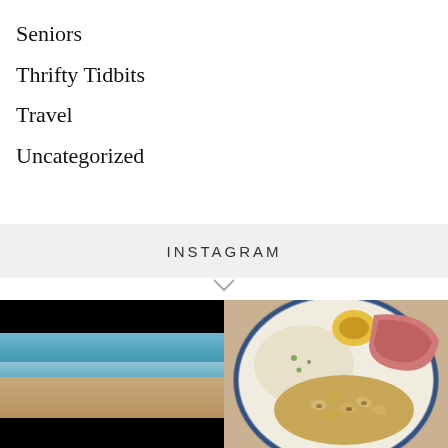Seniors
Thrifty Tidbits
Travel
Uncategorized
INSTAGRAM
[Figure (photo): Beach scene with black bars at top and bottom, ocean waves, sandy shore, blue sky]
[Figure (photo): Plate of food with black-eyed peas/beans, sliced ham or meat, a deviled egg, and mashed potato with herbs]